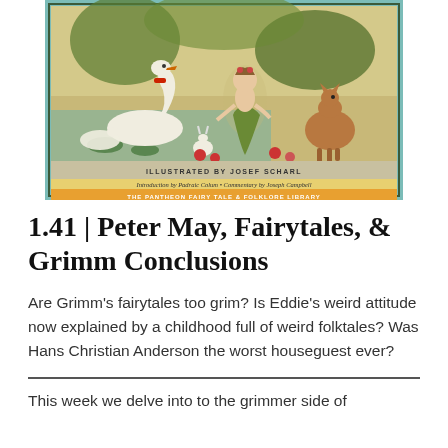[Figure (illustration): Book cover illustration showing fairy tale scene with swans, a young woman in a leafy dress, and woodland animals including a rabbit and deer. Text reads: ILLUSTRATED BY JOSEF SCHARL, Introduction by Padraic Colum • Commentary by Joseph Campbell, THE PANTHEON FAIRY TALE & FOLKLORE LIBRARY]
1.41 | Peter May, Fairytales, & Grimm Conclusions
Are Grimm's fairytales too grim? Is Eddie's weird attitude now explained by a childhood full of weird folktales? Was Hans Christian Anderson the worst houseguest ever?
This week we delve into to the grimmer side of